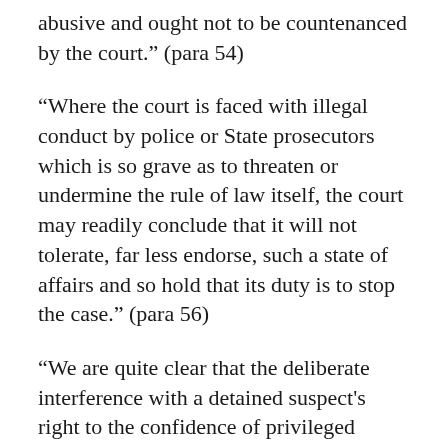abusive and ought not to be countenanced by the court." (para 54)
"Where the court is faced with illegal conduct by police or State prosecutors which is so grave as to threaten or undermine the rule of law itself, the court may readily conclude that it will not tolerate, far less endorse, such a state of affairs and so hold that its duty is to stop the case." (para 56)
"We are quite clear that the deliberate interference with a detained suspect's right to the confidence of privileged communications with his solicitor, such as we have found was done here, seriously undermines the rule of law and justifies a stay on grounds of abuse of process, notwithstanding the absence of prejudice consisting in evidence